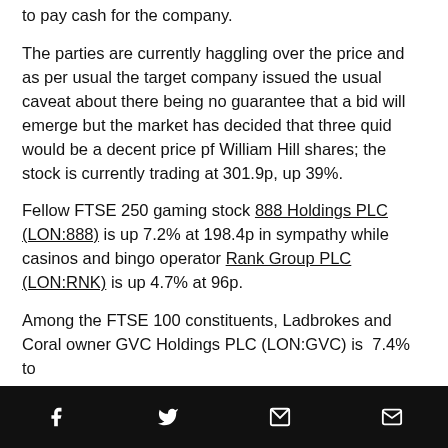to pay cash for the company.
The parties are currently haggling over the price and as per usual the target company issued the usual caveat about there being no guarantee that a bid will emerge but the market has decided that three quid would be a decent price pf William Hill shares; the stock is currently trading at 301.9p, up 39%.
Fellow FTSE 250 gaming stock 888 Holdings PLC (LON:888) is up 7.2% at 198.4p in sympathy while casinos and bingo operator Rank Group PLC (LON:RNK) is up 4.7% at 96p.
Among the FTSE 100 constituents, Ladbrokes and Coral owner GVC Holdings PLC (LON:GVC) is 7.4% to ... etfair ... is good